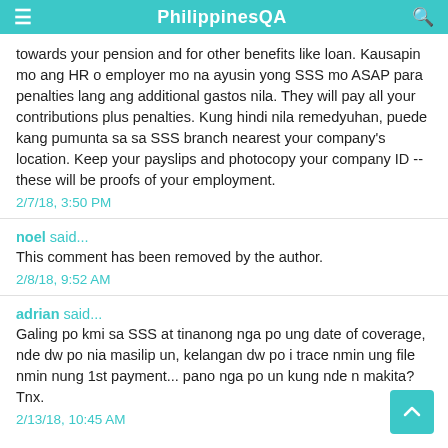PhilippinesQA
towards your pension and for other benefits like loan. Kausapin mo ang HR o employer mo na ayusin yong SSS mo ASAP para penalties lang ang additional gastos nila. They will pay all your contributions plus penalties. Kung hindi nila remedyuhan, puede kang pumunta sa sa SSS branch nearest your company's location. Keep your payslips and photocopy your company ID -- these will be proofs of your employment.
2/7/18, 3:50 PM
noel said...
This comment has been removed by the author.
2/8/18, 9:52 AM
adrian said...
Galing po kmi sa SSS at tinanong nga po ung date of coverage, nde dw po nia masilip un, kelangan dw po i trace nmin ung file nmin nung 1st payment... pano nga po un kung nde n makita? Tnx.
2/13/18, 10:45 AM